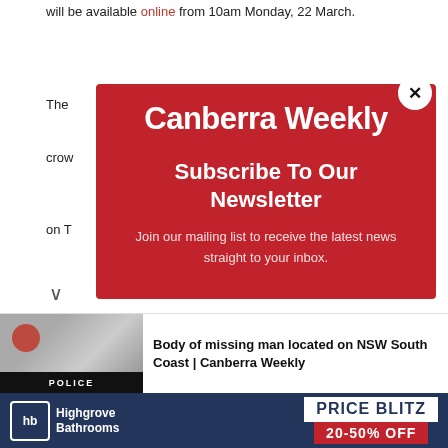will be available online from 10am Monday, 22 March.
The ... crow... on T...  ...rice
[Figure (screenshot): Canberra Weekly newsletter subscription modal popup with red background. Shows 'Canberra Weekly' logo in white bold text, 'Subscribe To Our Newsletter' heading, and subtext 'Join our mailing list to receive the latest news straight to your inbox.' A white circular close button with X is in the top-right corner.]
[Figure (screenshot): Browser notification bar showing a blurred photo (red traffic light, police tape) with text 'Body of missing man located on NSW South Coast | Canberra Weekly'. A down chevron and close X are visible.]
[Figure (screenshot): Advertisement banner for Highgrove Bathrooms showing 'hb Highgrove Bathrooms' logo on dark navy background and 'PRICE BLITZ 20-50% OFF' on right side.]